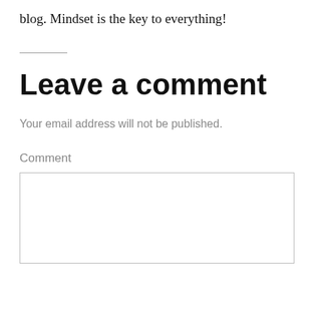blog. Mindset is the key to everything!
Leave a comment
Your email address will not be published.
Comment